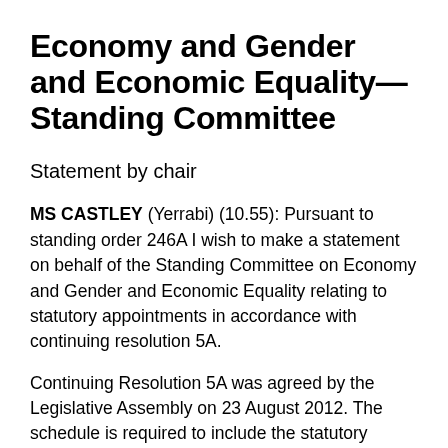Economy and Gender and Economic Equality—Standing Committee
Statement by chair
MS CASTLEY (Yerrabi) (10.55): Pursuant to standing order 246A I wish to make a statement on behalf of the Standing Committee on Economy and Gender and Economic Equality relating to statutory appointments in accordance with continuing resolution 5A.
Continuing Resolution 5A was agreed by the Legislative Assembly on 23 August 2012. The schedule is required to include the statutory appointments considered and for each appointment the date the request from the responsible minister for consultation was received and the date the committee's feedback was provided. For the reporting